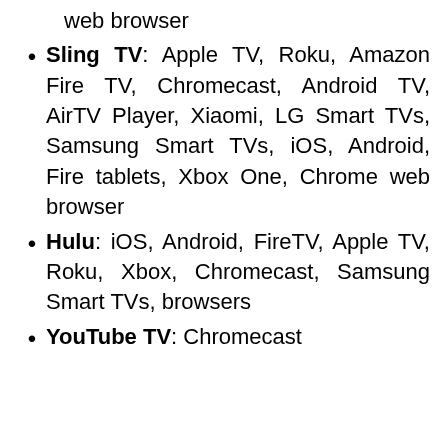web browser
Sling TV: Apple TV, Roku, Amazon Fire TV, Chromecast, Android TV, AirTV Player, Xiaomi, LG Smart TVs, Samsung Smart TVs, iOS, Android, Fire tablets, Xbox One, Chrome web browser
Hulu: iOS, Android, FireTV, Apple TV, Roku, Xbox, Chromecast, Samsung Smart TVs, browsers
YouTube TV: Chromecast